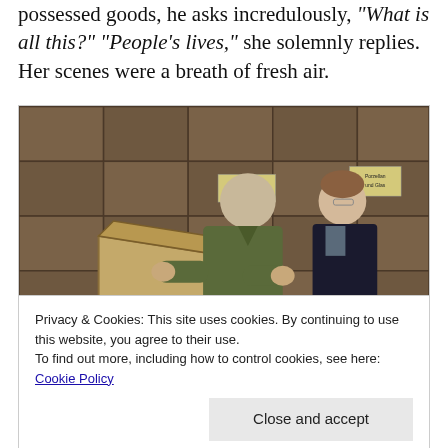possessed goods, he asks incredulously, "What is all this?" "People's lives," she solemnly replies. Her scenes were a breath of fresh air.
[Figure (photo): A man in an olive military jacket and a woman in a dark blazer stand in a warehouse filled with stacked wooden crates. The man holds up a large painting frame, examining it. The woman stands behind him, looking on seriously. Labels on the crates are partially visible in German.]
Privacy & Cookies: This site uses cookies. By continuing to use this website, you agree to their use.
To find out more, including how to control cookies, see here: Cookie Policy
upon these famous artworks and know that